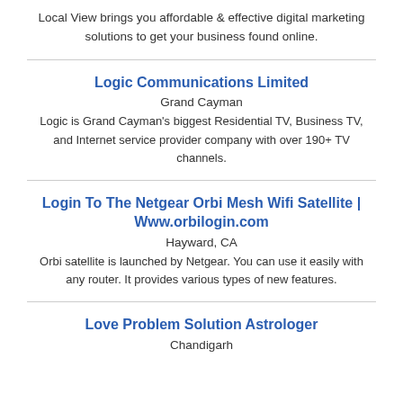Local View brings you affordable & effective digital marketing solutions to get your business found online.
Logic Communications Limited
Grand Cayman
Logic is Grand Cayman's biggest Residential TV, Business TV, and Internet service provider company with over 190+ TV channels.
Login To The Netgear Orbi Mesh Wifi Satellite | Www.orbilogin.com
Hayward, CA
Orbi satellite is launched by Netgear. You can use it easily with any router. It provides various types of new features.
Love Problem Solution Astrologer
Chandigarh